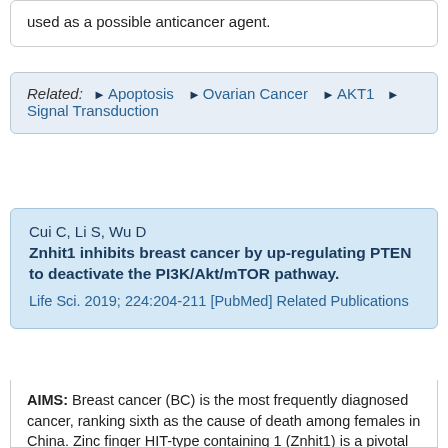used as a possible anticancer agent.
Related: ▶ Apoptosis ▶ Ovarian Cancer ▶ AKT1 ▶ Signal Transduction
Cui C, Li S, Wu D
Znhit1 inhibits breast cancer by up-regulating PTEN to deactivate the PI3K/Akt/mTOR pathway.
Life Sci. 2019; 224:204-211 [PubMed] Related Publications
AIMS: Breast cancer (BC) is the most frequently diagnosed cancer, ranking sixth as the cause of death among females in China. Zinc finger HIT-type containing 1 (Znhit1) is a pivotal factor for inhibition of gene mutation and cell proliferation. Due to the unknown function of Znhit1 in cancers, we aimed to explore the role of Znhit1 in BC as well as the underlying mechanisms.
MAIN METHODS: Znhit1 expression in clinical